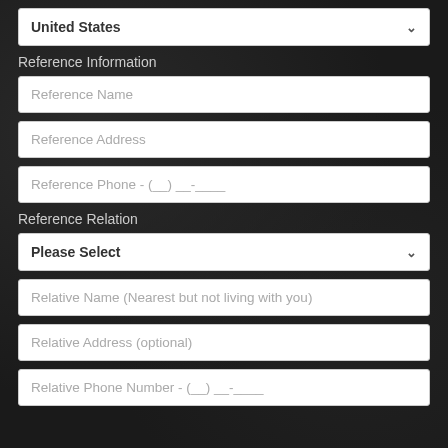United States
Reference Information
Reference Name
Reference Address
Reference Phone - (__) __-____
Reference Relation
Please Select
Relative Name (Nearest but not living with you)
Relative Address (optional)
Relative Phone Number - (__) __-____